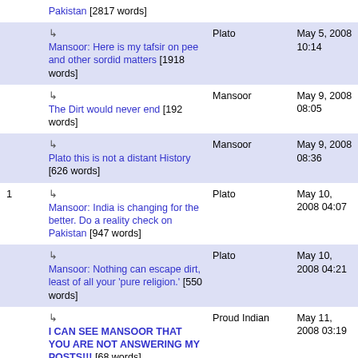| # | Title | Author | Date |
| --- | --- | --- | --- |
|  | ↳ Mansoor: Here is my tafsir on pee and other sordid matters [1918 words] | Plato | May 5, 2008 10:14 |
|  | ↳ The Dirt would never end [192 words] | Mansoor | May 9, 2008 08:05 |
|  | ↳ Plato this is not a distant History [626 words] | Mansoor | May 9, 2008 08:36 |
| 1 | ↳ Mansoor: India is changing for the better. Do a reality check on Pakistan [947 words] | Plato | May 10, 2008 04:07 |
|  | ↳ Mansoor: Nothing can escape dirt, least of all your 'pure religion.' [550 words] | Plato | May 10, 2008 04:21 |
|  | ↳ I CAN SEE MANSOOR THAT YOU ARE NOT ANSWERING MY POSTS!!! [68 words] | Proud Indian | May 11, 2008 03:19 |
|  | ↳ Mansoor... | Mansoor | May 11, |